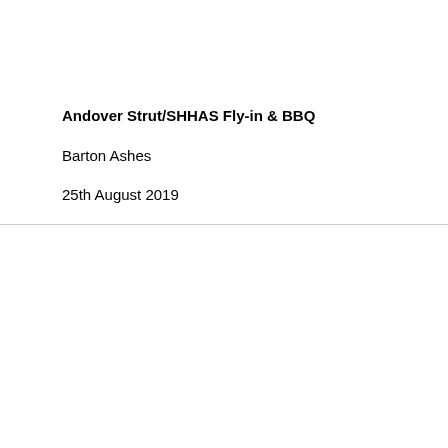Andover Strut/SHHAS Fly-in & BBQ
Barton Ashes
25th August 2019
Photos:Colin Lee